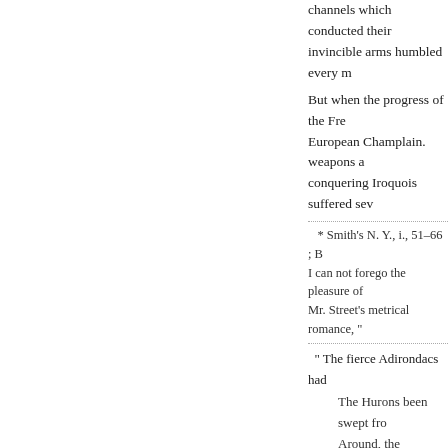channels which conducted their invincible arms humbled every m
But when the progress of the Fre European Champlain. weapons a conquering Iroquois suffered sev
* Smith's N. Y., i., 51–66 ; B I can not forego the pleasure of Mr. Street's metrical romance, "
" The fierce Adirondacs had
The Hurons been swept fro Around, the Ottawas, like And the Lake of the Eries The Lenape, lords once of Made women, bent low at By the far Mississippi the When the trail of the TOR On the hills of New Engla When the howl of the WO And the Cherokee shook'i When the foot of the BEA
« Previous